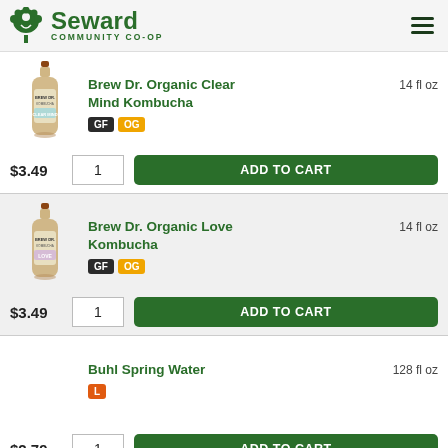Seward Community Co-op
Brew Dr. Organic Clear Mind Kombucha | 14 fl oz | GF | OG | $3.49 | Qty: 1 | ADD TO CART
Brew Dr. Organic Love Kombucha | 14 fl oz | GF | OG | $3.49 | Qty: 1 | ADD TO CART
Buhl Spring Water | 128 fl oz | L | $2.79 | Qty: 1 | ADD TO CART